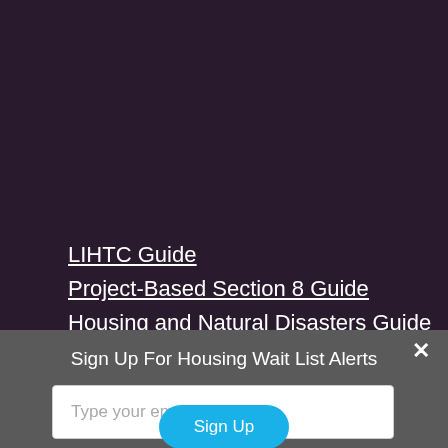LIHTC Guide
Project-Based Section 8 Guide
Housing and Natural Disasters Guide
Sign Up For Housing Wait List Alerts
Type your email
Sign Up